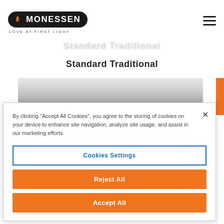[Figure (logo): Monessen logo with flame icon on dark rounded badge, tagline LOVE AT FIRST LIGHT below]
[Figure (other): Hamburger menu icon (three horizontal lines) in top right corner]
Standard Traditional
Standard Traditional
[Figure (photo): Brushed metallic/silver product image panel, partially visible]
By clicking "Accept All Cookies", you agree to the storing of cookies on your device to enhance site navigation, analyze site usage, and assist in our marketing efforts.
Cookies Settings
Reject All
Accept All